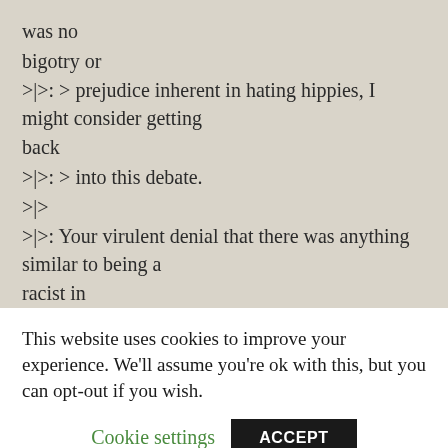was no
bigotry or
>|>: > prejudice inherent in hating hippies, I might consider getting
back
>|>: > into this debate.
>|>
>|>: Your virulent denial that there was anything similar to being a
racist in
>|>: your prejudicial behaviour.
>|>:
>|>Well Lester there is a difference between being a racist
This website uses cookies to improve your experience. We'll assume you're ok with this, but you can opt-out if you wish.
Cookie settings
ACCEPT